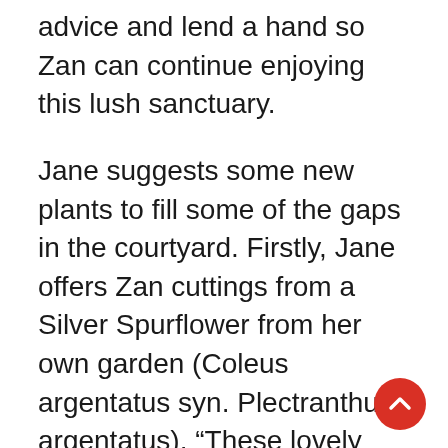advice and lend a hand so Zan can continue enjoying this lush sanctuary.
Jane suggests some new plants to fill some of the gaps in the courtyard. Firstly, Jane offers Zan cuttings from a Silver Spurflower from her own garden (Coleus argentatus syn. Plectranthus argentatus). “These lovely silvery grey leaves will really brighten up this dark space,” Jane says. Then it’s Jane’s favourite plant Lemon Verbena (Aloysia citrodora) and Spiny-headed mat-rush (Lomandra longifolia). “Lomandra